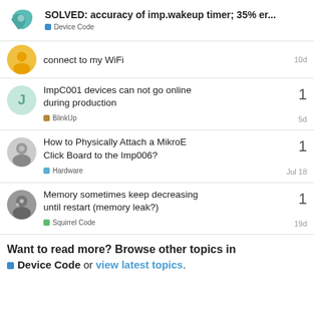SOLVED: accuracy of imp.wakeup timer; 35% er... | Device Code
connect to my WiFi | 10d
ImpC001 devices can not go online during production | BlinkUp | 1 | 5d
How to Physically Attach a MikroE Click Board to the Imp006? | Hardware | 1 | Jul 18
Memory sometimes keep decreasing until restart (memory leak?) | Squirrel Code | 1 | 19d
Want to read more? Browse other topics in Device Code or view latest topics.